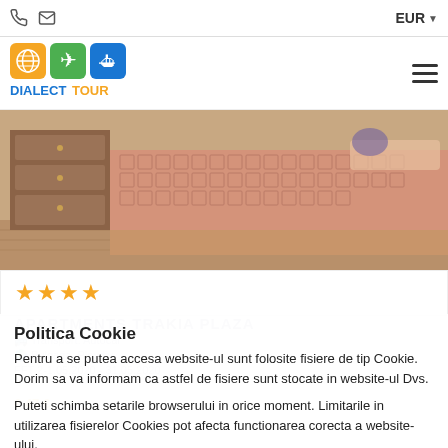EUR
[Figure (logo): Dialect Tour logo with globe, airplane, and ship icons in orange, green, and blue squares]
[Figure (photo): Hotel room photo showing a bed with patterned bedspread and wooden furniture]
★★★★
Politica Cookie
Pentru a se putea accesa website-ul sunt folosite fisiere de tip Cookie. Dorim sa va informam ca astfel de fisiere sunt stocate in website-ul Dvs.
Puteti schimba setarile browserului in orice moment. Limitarile in utilizarea fisierelor Cookies pot afecta functionarea corecta a website-ului.
Sunt de acord
Nu sunt de acord